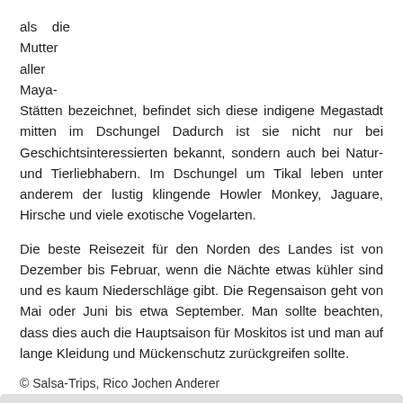als    die
Mutter
aller
Maya-
Stätten bezeichnet, befindet sich diese indigene Megastadt mitten im Dschungel Dadurch ist sie nicht nur bei Geschichtsinteressierten bekannt, sondern auch bei Natur- und Tierliebhabern. Im Dschungel um Tikal leben unter anderem der lustig klingende Howler Monkey, Jaguare, Hirsche und viele exotische Vogelarten.
Die beste Reisezeit für den Norden des Landes ist von Dezember bis Februar, wenn die Nächte etwas kühler sind und es kaum Niederschläge gibt. Die Regensaison geht von Mai oder Juni bis etwa September. Man sollte beachten, dass dies auch die Hauptsaison für Moskitos ist und man auf lange Kleidung und Mückenschutz zurückgreifen sollte.
© Salsa-Trips, Rico Jochen Anderer